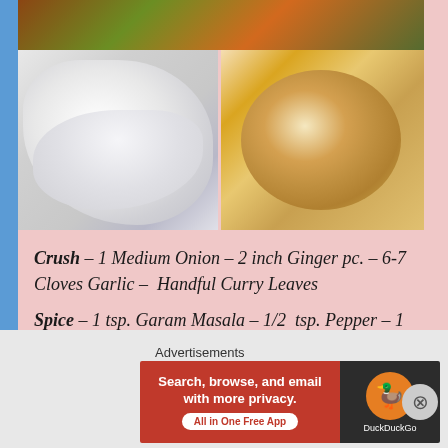[Figure (photo): Food photos: top strip shows a curry/vegetable dish with green herbs; bottom-left shows white cream/dough; bottom-right shows stacked flatbreads/rotis]
Crush – 1 Medium Onion – 2 inch Ginger pc. – 6-7 Cloves Garlic – Handful Curry Leaves
Spice – 1 tsp. Garam Masala – 1/2 tsp. Pepper – 1 tbsp. Coriander – 1/2 tsp. Cumin -1/2 tsp. Turmeric – 1/2 tsp Chilli – 1 tsp. Salt – Spice Mix Powder
Advertisements
[Figure (screenshot): DuckDuckGo advertisement banner: Search, browse, and email with more privacy. All in One Free App]